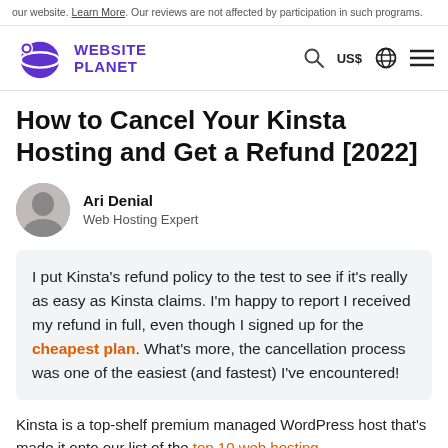our website. Learn More. Our reviews are not affected by participation in such programs.
[Figure (logo): Website Planet logo — purple planet icon with 'WEBSITE PLANET' text in purple uppercase]
How to Cancel Your Kinsta Hosting and Get a Refund [2022]
Ari Denial
Web Hosting Expert
I put Kinsta's refund policy to the test to see if it's really as easy as Kinsta claims. I'm happy to report I received my refund in full, even though I signed up for the cheapest plan. What's more, the cancellation process was one of the easiest (and fastest) I've encountered!
Kinsta is a top-shelf premium managed WordPress host that's made it onto our list of the top 10 web hosting